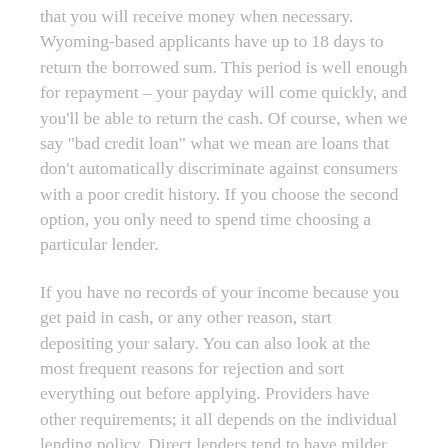that you will receive money when necessary. Wyoming-based applicants have up to 18 days to return the borrowed sum. This period is well enough for repayment – your payday will come quickly, and you'll be able to return the cash. Of course, when we say "bad credit loan" what we mean are loans that don't automatically discriminate against consumers with a poor credit history. If you choose the second option, you only need to spend time choosing a particular lender.
If you have no records of your income because you get paid in cash, or any other reason, start depositing your salary. You can also look at the most frequent reasons for rejection and sort everything out before applying. Providers have other requirements; it all depends on the individual lending policy. Direct lenders tend to have milder conditions in comparison with banks and other established financial institutions. For instance, banks will most certainly go through your credit history and have predetermined scores, below which no application is approved.
Fill the application form on the website, share the demanded